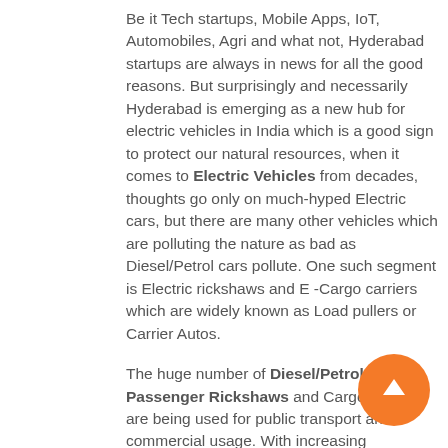Be it Tech startups, Mobile Apps, IoT, Automobiles, Agri and what not, Hyderabad startups are always in news for all the good reasons. But surprisingly and necessarily Hyderabad is emerging as a new hub for electric vehicles in India which is a good sign to protect our natural resources, when it comes to Electric Vehicles from decades, thoughts go only on much-hyped Electric cars, but there are many other vehicles which are polluting the nature as bad as Diesel/Petrol cars pollute. One such segment is Electric rickshaws and E -Cargo carriers which are widely known as Load pullers or Carrier Autos.
The huge number of Diesel/Petrol Passenger Rickshaws and Cargo Carriers are being used for public transport and commercial usage. With increasing population and huge movement of people and goods from one place to the other, the number of diesel and petrol rickshaws hitting roads are doubling year by year and these heavy usage of fuel rickshaws has become a real problem which is polluting the air very badly and resulting in many breathing related diseases and